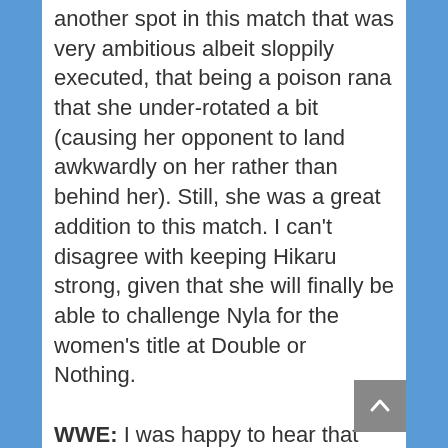another spot in this match that was very ambitious albeit sloppily executed, that being a poison rana that she under-rotated a bit (causing her opponent to land awkwardly on her rather than behind her). Still, she was a great addition to this match. I can't disagree with keeping Hikaru strong, given that she will finally be able to challenge Nyla for the women's title at Double or Nothing.

WWE: I was happy to hear that Asuka won the MITB match this year, and thus is our new RAW women's champion. And given that she is now apparently a face, my hopes are that she is booked better than she was the